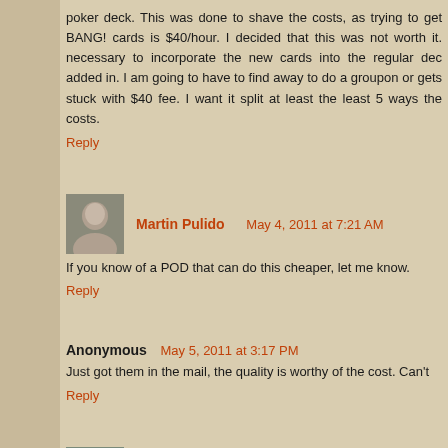poker deck. This was done to shave the costs, as trying to get BANG! cards is $40/hour. I decided that this was not worth it. necessary to incorporate the new cards into the regular dec added in. I am going to have to find away to do a groupon or gets stuck with $40 fee. I want it split at least the least 5 ways the costs.
Reply
Martin Pulido   May 4, 2011 at 7:21 AM
If you know of a POD that can do this cheaper, let me know.
Reply
Anonymous  May 5, 2011 at 3:17 PM
Just got them in the mail, the quality is worthy of the cost. Can't
Reply
Martin Pulido   May 5, 2011 at 8:37 PM
I am glad that the cards turned out so high quality. I was qui happy that my tweeks have made a difference. Make sure to